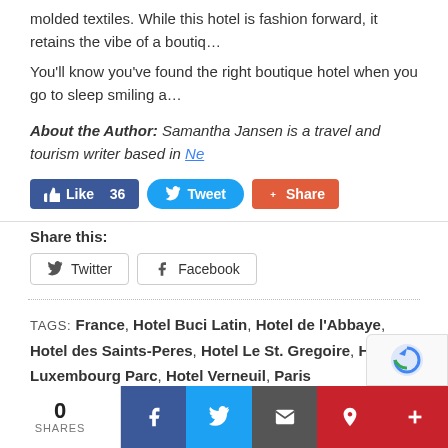molded textiles. While this hotel is fashion forward, it retains the vibe of a boutiq…
You'll know you've found the right boutique hotel when you go to sleep smiling a…
About the Author: Samantha Jansen is a travel and tourism writer based in Ne…
[Figure (screenshot): Social sharing buttons: Facebook Like (36), Tweet, Share (red)]
Share this:
[Figure (screenshot): Share buttons: Twitter, Facebook]
TAGS: France, Hotel Buci Latin, Hotel de l'Abbaye, Hotel des Saints-Peres, Hotel Le St. Gregoire, Hotel Luxembourg Parc, Hotel Verneuil, Paris
No Comments
Start the ball rolling by posting a comment on this article!
Leave a Reply
[Figure (screenshot): Bottom share bar: 0 Shares, Facebook, Twitter, Email, Pinterest, Plus buttons]